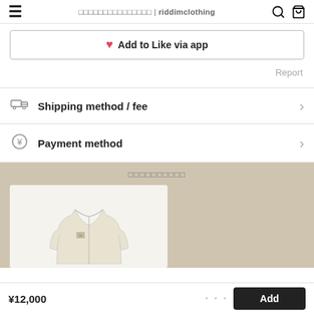□□□□□□□□□□□□□□□ | riddimclothing
❤ Add to Like via app
Report
Shipping method / fee
Payment method
□□□□□□□□□□
[Figure (photo): Cream/beige zip-up fleece jacket with small logo on chest]
¥12,000
Add